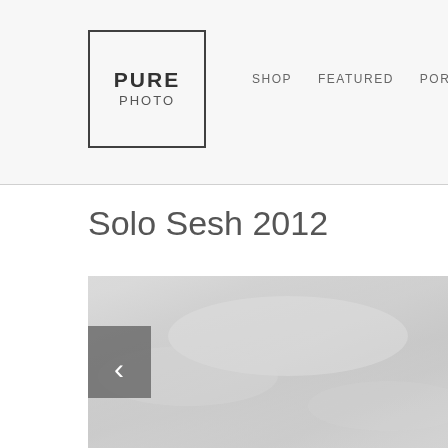PURE PHOTO | SHOP | FEATURED | PORTFOLIO | SERVICES
Solo Sesh 2012
[Figure (photo): A photo slideshow viewer with a light gray/overcast sky photograph and a left navigation arrow button on a semi-transparent gray background]